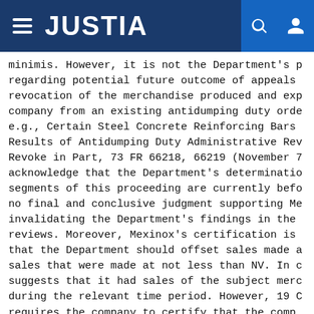JUSTIA
minimis. However, it is not the Department's p regarding potential future outcome of appeals revocation of the merchandise produced and exp company from an existing antidumping duty orde e.g., Certain Steel Concrete Reinforcing Bars Results of Antidumping Duty Administrative Rev Revoke in Part, 73 FR 66218, 66219 (November 7 acknowledge that the Department's determinatio segments of this proceeding are currently befo no final and conclusive judgment supporting Me invalidating the Department's findings in the reviews. Moreover, Mexinox's certification is that the Department should offset sales made a sales that were made at not less than NV. In c suggests that it had sales of the subject merc during the relevant time period. However, 19 C requires the company to certify that the comp